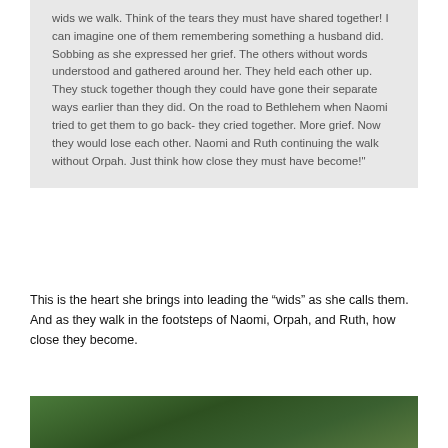wids we walk. Think of the tears they must have shared together! I can imagine one of them remembering something a husband did. Sobbing as she expressed her grief. The others without words understood and gathered around her. They held each other up. They stuck together though they could have gone their separate ways earlier than they did. On the road to Bethlehem when Naomi tried to get them to go back- they cried together. More grief. Now they would lose each other. Naomi and Ruth continuing the walk without Orpah. Just think how close they must have become!"
This is the heart she brings into leading the “wids” as she calls them. And as they walk in the footsteps of Naomi, Orpah, and Ruth, how close they become.
[Figure (photo): A photo strip at the bottom of the page showing greenery/foliage]